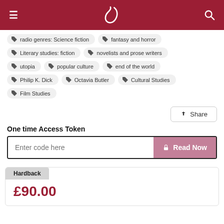≡ [logo] 🔍
radio genres: Science fiction
fantasy and horror
Literary studies: fiction
novelists and prose writers
utopia
popular culture
end of the world
Philip K. Dick
Octavia Butler
Cultural Studies
Film Studies
Share
One time Access Token
Enter code here
Read Now
Hardback
£90.00